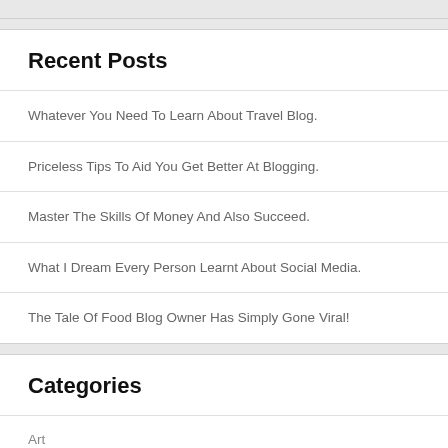Recent Posts
Whatever You Need To Learn About Travel Blog.
Priceless Tips To Aid You Get Better At Blogging.
Master The Skills Of Money And Also Succeed.
What I Dream Every Person Learnt About Social Media.
The Tale Of Food Blog Owner Has Simply Gone Viral!
Categories
Art